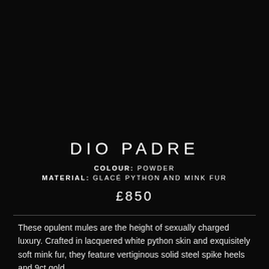[Figure (photo): Black background image area (product photo placeholder)]
DIO PADRE
COLOUR: POWDER
MATERIAL: GLACÉ PYTHON AND MINK FUR
£850
These opulent mules are the height of sexually charged luxury. Crafted in lacquered white python skin and exquisitely soft mink fur, they feature vertiginous solid steel spike heels and 9ct gold